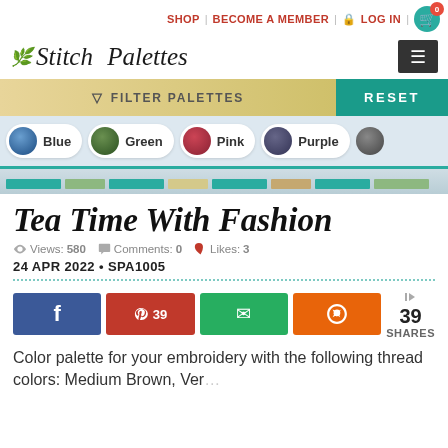SHOP | BECOME A MEMBER | LOG IN | 0
Stitch Palettes
FILTER PALETTES  RESET
Blue
Green
Pink
Purple
Tea Time With Fashion
Views: 580  Comments: 0  Likes: 3
24 APR 2022 • SPA1005
f  p 39  email  reddit  39 SHARES
Color palette for your embroidery with the following thread colors: Medium Brown, Ver...